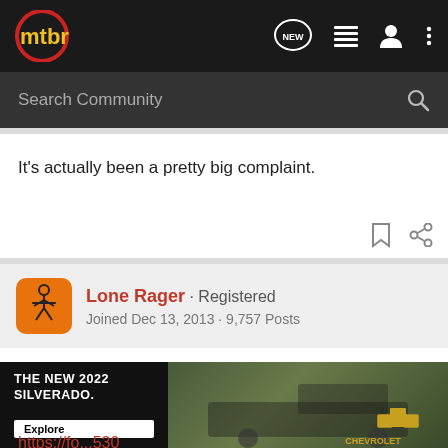mtbr — navigation bar with logo, NEW button, list icon, user icon, menu icon
Search Community
It's actually been a pretty big complaint.
Lone Rager · Registered
Joined Dec 13, 2013 · 9,757 Posts
#3 · Aug 22, 2019
It's a "feature". Check the official Garmin forums for the 530 (and 830 too).
https://fo...530
[Figure (screenshot): Chevrolet advertisement banner for the new 2022 Silverado showing truck in outdoor setting with Explore button and Chevrolet logo]